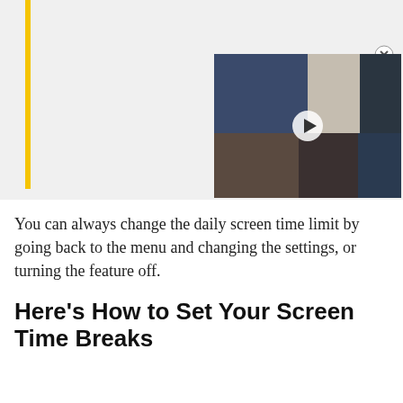[Figure (screenshot): Video call thumbnail showing four participants in a grid layout with a play button overlay, displayed in a dark container with a close (X) button. A yellow vertical bar is on the left side of a gray background area.]
You can always change the daily screen time limit by going back to the menu and changing the settings, or turning the feature off.
Here’s How to Set Your Screen Time Breaks